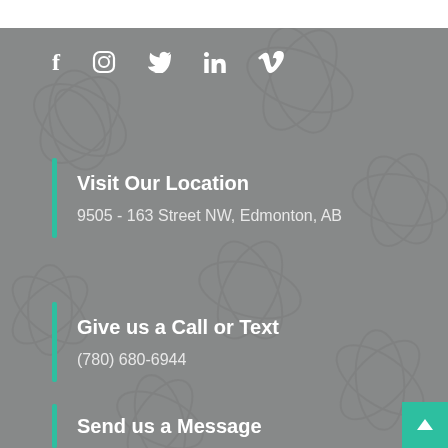[Figure (other): Social media icons row: Facebook, Instagram, Twitter, LinkedIn, Vimeo]
Visit Our Location
9505 - 163 Street NW, Edmonton, AB
Give us a Call or Text
(780) 680-6944
Send us a Message